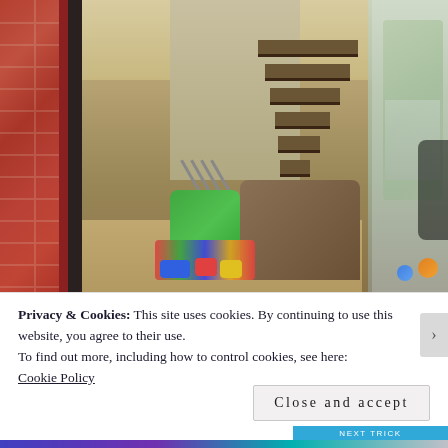[Figure (photo): Exterior view through a glass door into a home interior. Left side shows red brick wall with dark red trim and door frame. Interior shows a living room with carpeted floor, staircase with wooden steps visible through a doorway, a couch, and children's toys (green toy table and colorful building blocks) on the floor. Right side shows a glass panel reflecting trees outside.]
Privacy & Cookies: This site uses cookies. By continuing to use this website, you agree to their use.
To find out more, including how to control cookies, see here:
Cookie Policy
Close and accept